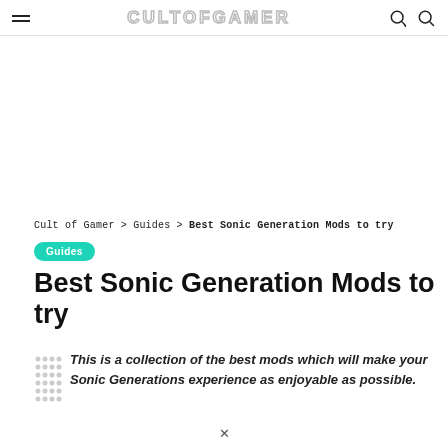Cult of Gamer
Cult of Gamer > Guides > Best Sonic Generation Mods to try
Guides
Best Sonic Generation Mods to try
This is a collection of the best mods which will make your Sonic Generations experience as enjoyable as possible.